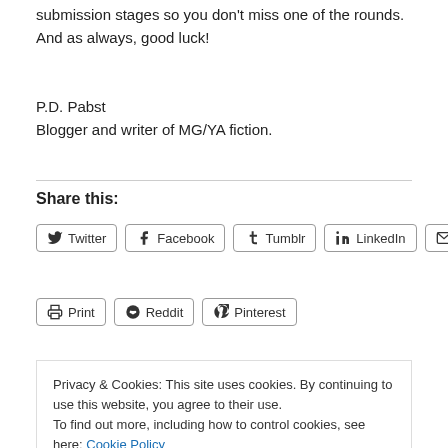submission stages so you don't miss one of the rounds.
And as always, good luck!
P.D. Pabst
Blogger and writer of MG/YA fiction.
Share this:
Twitter  Facebook  Tumblr  LinkedIn  Email  Print  Reddit  Pinterest
Privacy & Cookies: This site uses cookies. By continuing to use this website, you agree to their use.
To find out more, including how to control cookies, see here: Cookie Policy
Close and accept